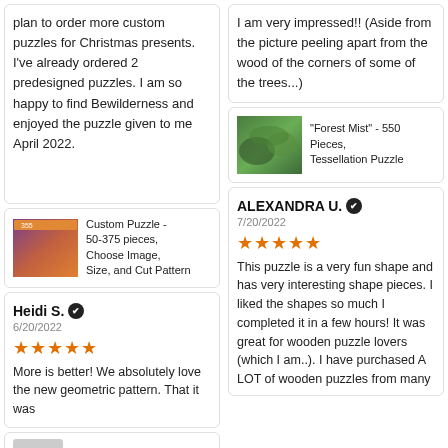plan to order more custom puzzles for Christmas presents. I've already ordered 2 predesigned puzzles. I am so happy to find Bewilderness and enjoyed the puzzle given to me April 2022.
[Figure (photo): Custom Puzzle product thumbnail - colorful image with '355' label]
Custom Puzzle - 50-375 pieces, Choose Image, Size, and Cut Pattern
Heidi S. ✔
6/20/2022
★★★★★
More is better! We absolutely love the new geometric pattern. That it was
I am very impressed!! (Aside from the picture peeling apart from the wood of the corners of some of the trees...)
[Figure (photo): Forest Mist puzzle thumbnail - green forest image]
"Forest Mist" - 550 Pieces, Tessellation Puzzle
ALEXANDRA U. ✔
7/20/2022
★★★★★
This puzzle is a very fun shape and has very interesting shape pieces. I liked the shapes so much I completed it in a few hours! It was great for wooden puzzle lovers (which I am..). I have purchased A LOT of wooden puzzles from many